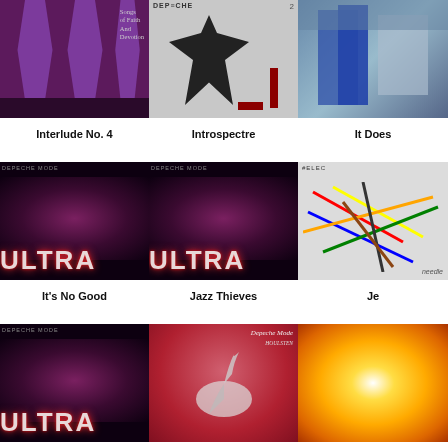[Figure (illustration): Album art: Songs of Faith and Devotion - purple/dark figures on dark red background with text overlay]
[Figure (illustration): Album art: Introspectre - Depeche Mode logo with dark feathery figure on grey/white background]
[Figure (illustration): Album art: It Does - industrial blue metal structure]
Interlude No. 4
Introspectre
It Does
[Figure (illustration): Album art: It's No Good - Depeche Mode Ultra album cover with pink/purple brain-like image and ULTRA text]
[Figure (illustration): Album art: Jazz Thieves - Depeche Mode Ultra album cover with pink/purple brain-like image and ULTRA text]
[Figure (illustration): Album art: Je - colored lines on grey background with Depeche Mode branding]
It's No Good
Jazz Thieves
Je
[Figure (illustration): Album art: Ultra album cover variant - dark with ULTRA text]
[Figure (illustration): Album art: Depeche Mode - bird/heron on red misty background]
[Figure (illustration): Album art: warm yellow/orange glow]